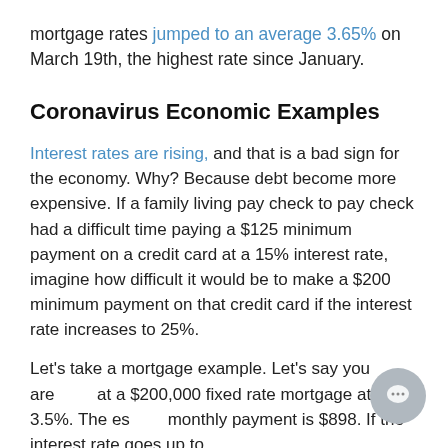mortgage rates jumped to an average 3.65% on March 19th, the highest rate since January.
Coronavirus Economic Examples
Interest rates are rising, and that is a bad sign for the economy. Why? Because debt become more expensive. If a family living pay check to pay check had a difficult time paying a $125 minimum payment on a credit card at a 15% interest rate, imagine how difficult it would be to make a $200 minimum payment on that credit card if the interest rate increases to 25%.
Let's take a mortgage example. Let's say you are at a $200,000 fixed rate mortgage at 3.5%. The estimated monthly payment is $898. If the interest rate goes up to